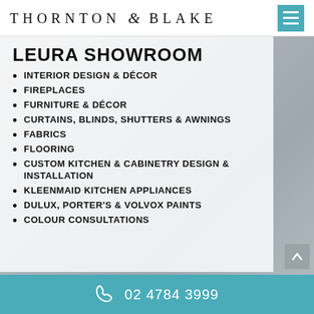THORNTON & BLAKE
LEURA SHOWROOM
INTERIOR DESIGN & DÉCOR
FIREPLACES
FURNITURE & DÉCOR
CURTAINS, BLINDS, SHUTTERS & AWNINGS
FABRICS
FLOORING
CUSTOM KITCHEN & CABINETRY DESIGN & INSTALLATION
KLEENMAID KITCHEN APPLIANCES
DULUX, PORTER'S & VOLVOX PAINTS
COLOUR CONSULTATIONS
02 4784 3999